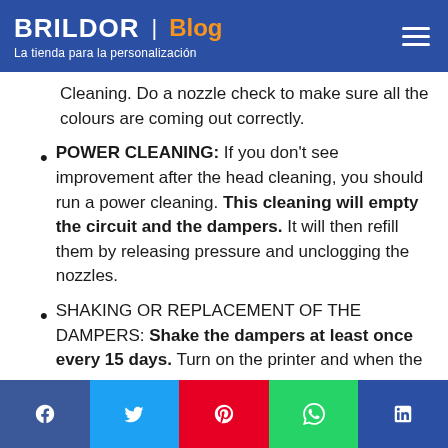BRILDOR | Blog — La tienda para la personalización
Cleaning. Do a nozzle check to make sure all the colours are coming out correctly.
POWER CLEANING: If you don't see improvement after the head cleaning, you should run a power cleaning. This cleaning will empty the circuit and the dampers. It will then refill them by releasing pressure and unclogging the nozzles.
SHAKING OR REPLACEMENT OF THE DAMPERS: Shake the dampers at least once every 15 days. Turn on the printer and when the print
Social share bar: Facebook, Twitter, Pinterest, WhatsApp, LinkedIn